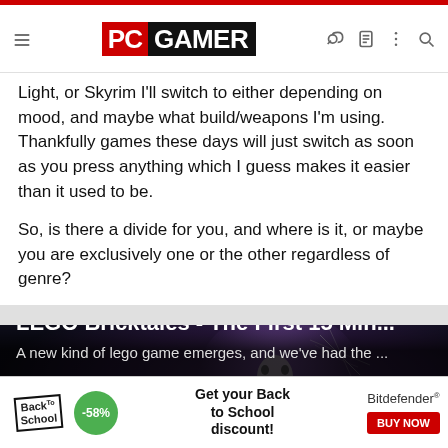PC GAMER
Light, or Skyrim I'll switch to either depending on mood, and maybe what build/weapons I'm using. Thankfully games these days will just switch as soon as you press anything which I guess makes it easier than it used to be.
So, is there a divide for you, and where is it, or maybe you are exclusively one or the other regardless of genre?
Pifanjr, Ryzengang, mainer and 2 others
[Figure (screenshot): LEGO Bricktales video thumbnail with dark background showing LEGO scene]
LEGO Bricktales - The First 15 Min...
A new kind of lego game emerges, and we've had the ...
[Figure (infographic): Bitdefender Back to School advertisement banner with -58% discount and BUY NOW button]